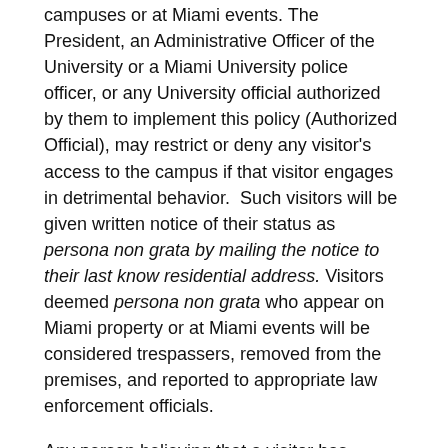campuses or at Miami events. The President, an Administrative Officer of the University or a Miami University police officer, or any University official authorized by them to implement this policy (Authorized Official), may restrict or deny any visitor's access to the campus if that visitor engages in detrimental behavior.  Such visitors will be given written notice of their status as persona non grata by mailing the notice to their last know residential address. Visitors deemed persona non grata who appear on Miami property or at Miami events will be considered trespassers, removed from the premises, and reported to appropriate law enforcement officials.
Any person believing that a visitor has exhibited detrimental behavior as defined in this policy should report the behavior to the Miami Police, an Administrative Officer of the University, an Authorized Official, or the person responsible for the location or facility at which the detrimental behavior occurred who shall then promptly refer the matter to the Miami Police..
The Miami Police or an Authorized Official will review